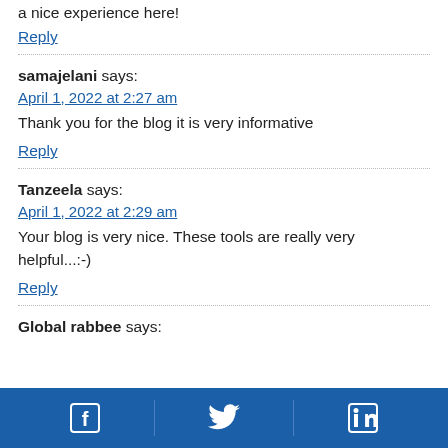a nice experience here!
Reply
samajelani says:
April 1, 2022 at 2:27 am
Thank you for the blog it is very informative
Reply
Tanzeela says:
April 1, 2022 at 2:29 am
Your blog is very nice. These tools are really very helpful...:-)
Reply
Global rabbee says:
Facebook | Twitter | LinkedIn